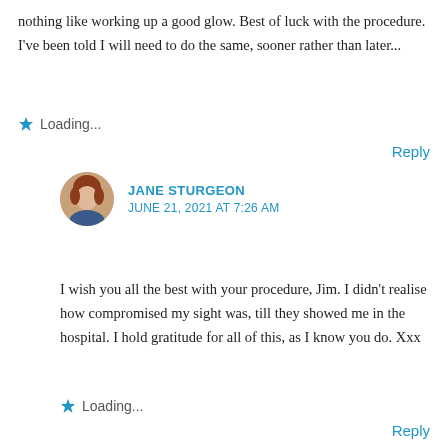nothing like working up a good glow. Best of luck with the procedure. I've been told I will need to do the same, sooner rather than later...
Loading...
Reply
JANE STURGEON
JUNE 21, 2021 AT 7:26 AM
I wish you all the best with your procedure, Jim. I didn't realise how compromised my sight was, till they showed me in the hospital. I hold gratitude for all of this, as I know you do. Xxx
Loading...
Reply